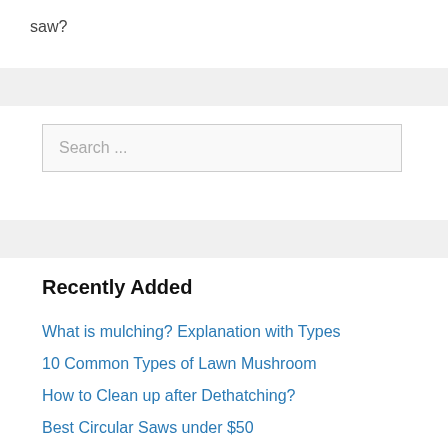saw?
Search ...
Recently Added
What is mulching? Explanation with Types
10 Common Types of Lawn Mushroom
How to Clean up after Dethatching?
Best Circular Saws under $50